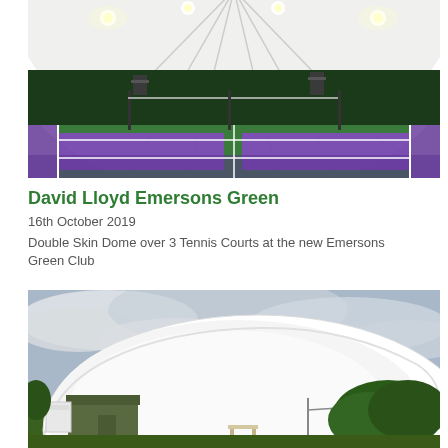[Figure (photo): Interior view of a large white inflatable dome over three purple and green tennis courts, with bright LED lighting and dark green wall padding visible.]
David Lloyd Emersons Green
16th October 2019
Double Skin Dome over 3 Tennis Courts at the new Emersons Green Club
[Figure (photo): Exterior view of a large white inflatable dome structure at the Emersons Green Club, with a green metal shed, a bench, green shrubbery, and a cloudy sky in the background.]